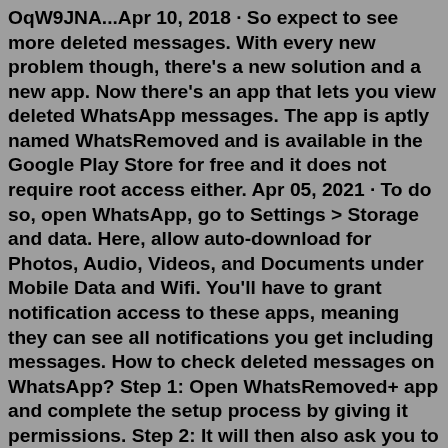OqW9JNA...Apr 10, 2018 · So expect to see more deleted messages. With every new problem though, there's a new solution and a new app. Now there's an app that lets you view deleted WhatsApp messages. The app is aptly named WhatsRemoved and is available in the Google Play Store for free and it does not require root access either. Apr 05, 2021 · To do so, open WhatsApp, go to Settings > Storage and data. Here, allow auto-download for Photos, Audio, Videos, and Documents under Mobile Data and Wifi. You'll have to grant notification access to these apps, meaning they can see all notifications you get including messages. How to check deleted messages on WhatsApp? Step 1: Open WhatsRemoved+ app and complete the setup process by giving it permissions. Step 2: It will then also ask you to choose apps for which you ...1. Download the Whatscan for WhatsApp Web from the Google Play store and install it on your phone. 2. Then, open it and select your preferred language. 3. Scan the WhatsApp QR code from your husband's phone. 4. After this, you